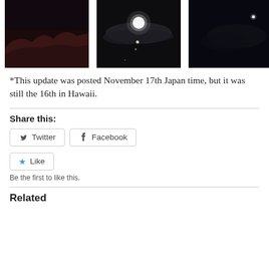[Figure (photo): Three dark nighttime photos arranged in a row: left shows a dark mountainous silhouette, center shows a bright moon or light with clouds, right shows a very dark sky with a small bright point of light.]
*This update was posted November 17th Japan time, but it was still the 16th in Hawaii.
Share this:
Twitter  Facebook
Like
Be the first to like this.
Related